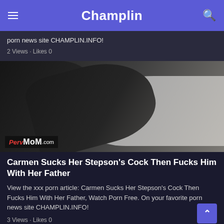Champlin
porn news site CHAMPLIN.INFO!
2 Views · Likes 0
[Figure (photo): Video thumbnail showing a person in a black outfit, with a PervMom.com watermark in the lower left corner]
Carmen Sucks Her Stepson's Cock Then Fucks Him With Her Father
View the xxx porn article: Carmen Sucks Her Stepson's Cock Then Fucks Him With Her Father, Watch Porn Free. On your favorite porn news site CHAMPLIN.INFO!
3 Views · Likes 0